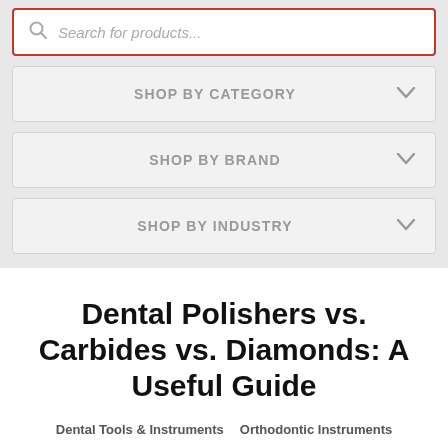[Figure (screenshot): Search bar with red border and placeholder text 'Search for products...' with a magnifying glass icon]
SHOP BY CATEGORY
SHOP BY BRAND
SHOP BY INDUSTRY
Dental Polishers vs. Carbides vs. Diamonds: A Useful Guide
Dental Tools & Instruments  Orthodontic Instruments